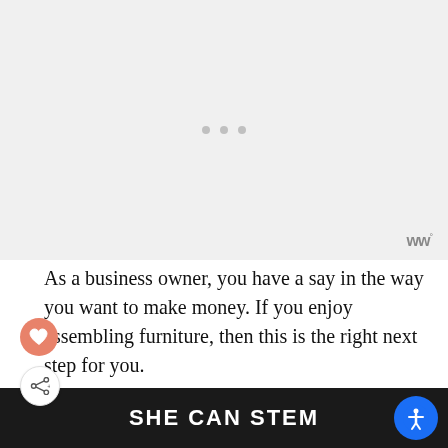[Figure (photo): Light gray placeholder image area with three small dots (loading indicator) in the center and a logo 'w°' in the bottom right corner]
As a business owner, you have a say in the way you want to make money. If you enjoy assembling furniture, then this is the right next step for you.
Get $200+ in FREE Bonuses
SHE CAN STEM